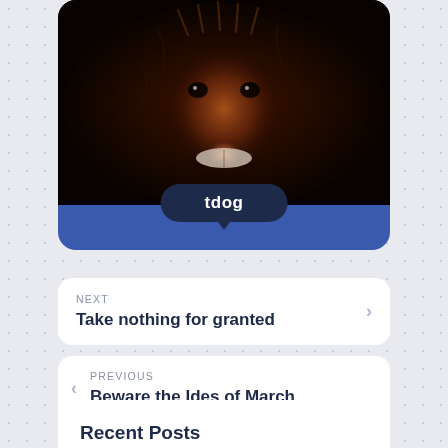[Figure (photo): Animal face close-up (appears to be a monkey or baboon showing teeth) with dark fur and reddish facial features, displayed in a rounded card with blue background. A dark navy badge below reads 'tdog' with a downward arrow.]
tdog
NEXT
Take nothing for granted
PREVIOUS
Beware the Ides of March
Recent Posts
Happy Father's Day
June 19, 2022